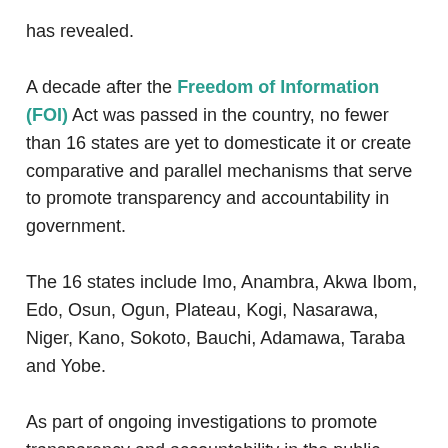has revealed.
A decade after the Freedom of Information (FOI) Act was passed in the country, no fewer than 16 states are yet to domesticate it or create comparative and parallel mechanisms that serve to promote transparency and accountability in government.
The 16 states include Imo, Anambra, Akwa Ibom, Edo, Osun, Ogun, Plateau, Kogi, Nasarawa, Niger, Kano, Sokoto, Bauchi, Adamawa, Taraba and Yobe.
As part of ongoing investigations to promote transparency and accountability in the public sector, our source submitted 162 FOI requests across the 36 states of the federation.
The requests